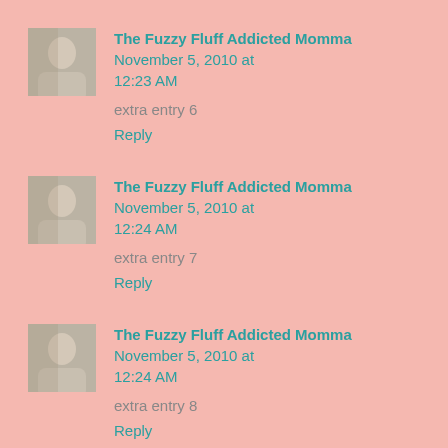The Fuzzy Fluff Addicted Momma November 5, 2010 at 12:23 AM
extra entry 6
Reply
The Fuzzy Fluff Addicted Momma November 5, 2010 at 12:24 AM
extra entry 7
Reply
The Fuzzy Fluff Addicted Momma November 5, 2010 at 12:24 AM
extra entry 8
Reply